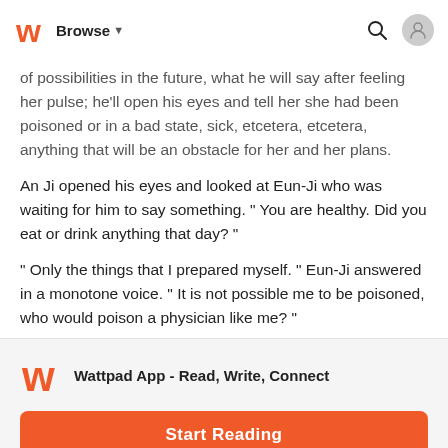Browse
of possibilities in the future, what he will say after feeling her pulse; he'll open his eyes and tell her she had been poisoned or in a bad state, sick, etcetera, etcetera, anything that will be an obstacle for her and her plans.
An Ji opened his eyes and looked at Eun-Ji who was waiting for him to say something. " You are healthy. Did you eat or drink anything that day? "
" Only the things that I prepared myself. " Eun-Ji answered in a monotone voice. " It is not possible me to be poisoned, who would poison a physician like me? "
Wattpad App - Read, Write, Connect
Start Reading
Log in with Browser